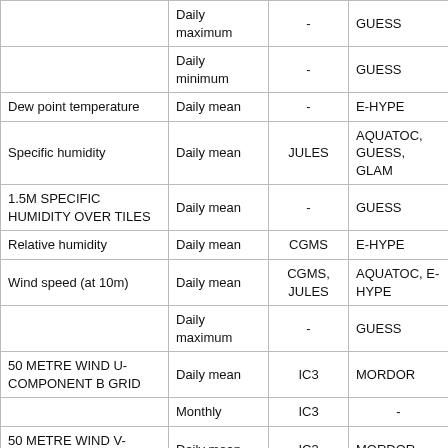| Variable | Temporal resolution | Used by (standard) | Used by (optional) |
| --- | --- | --- | --- |
|  | Daily maximum | - | GUESS |
|  | Daily minimum | - | GUESS |
| Dew point temperature | Daily mean | - | E-HYPE |
| Specific humidity | Daily mean | JULES | AQUATOC, GUESS, GLAM |
| 1.5M SPECIFIC HUMIDITY OVER TILES | Daily mean | - | GUESS |
| Relative humidity | Daily mean | CGMS | E-HYPE |
| Wind speed (at 10m) | Daily mean | CGMS, JULES | AQUATOC, E-HYPE |
|  | Daily maximum | - | GUESS |
| 50 METRE WIND U-COMPONENT B GRID | Daily mean | IC3 | MORDOR |
|  | Monthly | IC3 | - |
| 50 METRE WIND V-COMPONENT B GRID | Daily mean | IC3 | MORDOR |
|  | Monthly | IC3 | - |
| WIND GUST | Daily maximum | - | GUESS |
| Surface air pressure | Daily mean | JULES | IC3, E-HYPE |
|  | Monthly |  | IC3 |